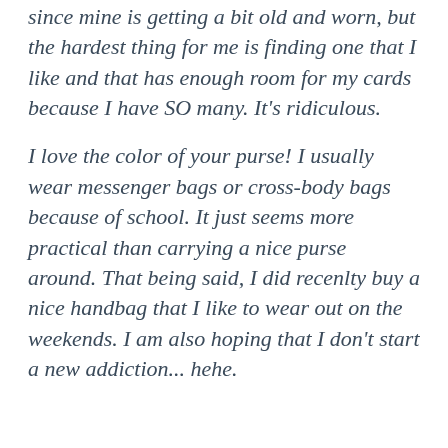since mine is getting a bit old and worn, but the hardest thing for me is finding one that I like and that has enough room for my cards because I have SO many. It's ridiculous.
I love the color of your purse! I usually wear messenger bags or cross-body bags because of school. It just seems more practical than carrying a nice purse around. That being said, I did recenlty buy a nice handbag that I like to wear out on the weekends. I am also hoping that I don't start a new addiction... hehe.